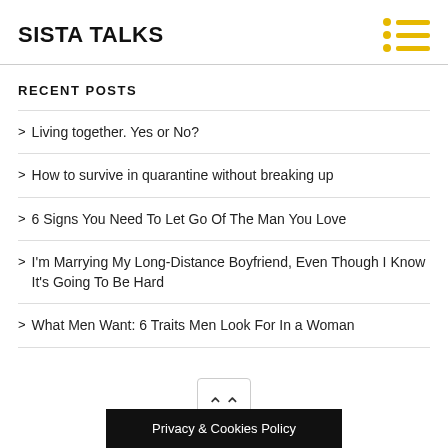SISTA TALKS
RECENT POSTS
Living together. Yes or No?
How to survive in quarantine without breaking up
6 Signs You Need To Let Go Of The Man You Love
I'm Marrying My Long-Distance Boyfriend, Even Though I Know It's Going To Be Hard
What Men Want: 6 Traits Men Look For In a Woman
Privacy & Cookies Policy